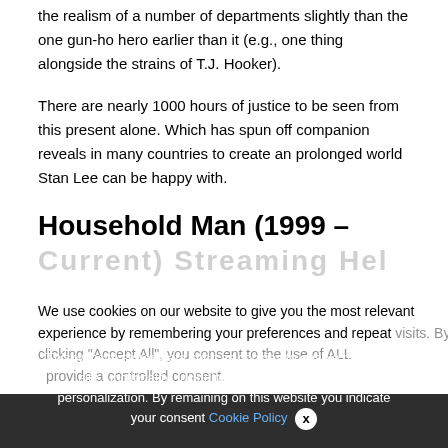the realism of a number of departments slightly than the one gun-ho hero earlier than it (e.g., one thing alongside the strains of T.J. Hooker).
There are nearly 1000 hours of justice to be seen from this present alone. Which has spun off companion reveals in many countries to create an prolonged world Stan Lee can be happy with.
Household Man (1999 – Current) Streaming Hel…
We use cookies on our website to give you the most relevant experience by remembering your preferences and repeat visits. By clicking "Accept All", you consent to the use of ALL … provide a controlled consent.
This website stores data such as cookies to enable necessary site functionality, including analytics, targeting, and personalization. By remaining on this website you indicate your consent Cookie Policy  x